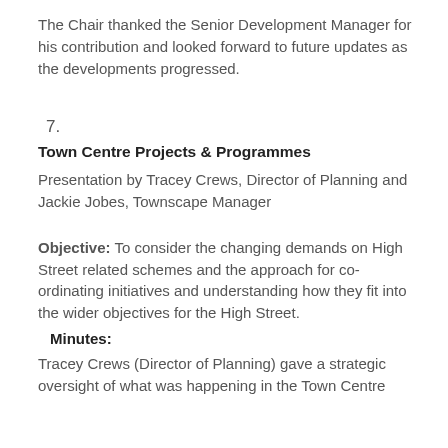The Chair thanked the Senior Development Manager for his contribution and looked forward to future updates as the developments progressed.
7.
Town Centre Projects & Programmes
Presentation by Tracey Crews, Director of Planning and Jackie Jobes, Townscape Manager
Objective: To consider the changing demands on High Street related schemes and the approach for co-ordinating initiatives and understanding how they fit into the wider objectives for the High Street.
Minutes:
Tracey Crews (Director of Planning) gave a strategic oversight of what was happening in the Town Centre